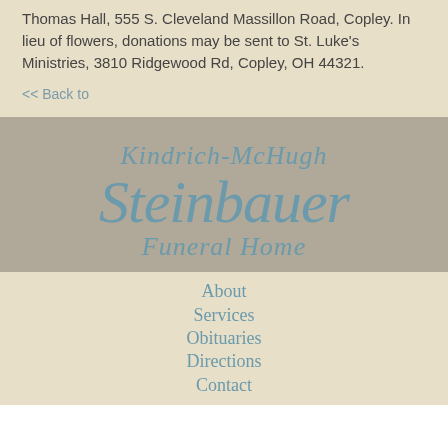Thomas Hall, 555 S. Cleveland Massillon Road, Copley. In lieu of flowers, donations may be sent to St. Luke's Ministries, 3810 Ridgewood Rd, Copley, OH 44321.
<< Back to
[Figure (logo): Kindrich-McHugh Steinbauer Funeral Home logo in cursive script, teal/blue color on gray background]
About
Services
Obituaries
Directions
Contact